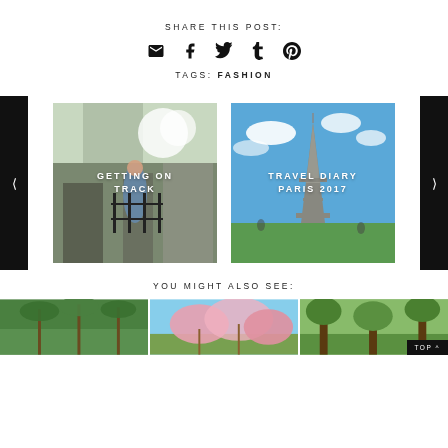SHARE THIS POST:
[Figure (infographic): Social share icons: email, facebook, twitter, tumblr, pinterest]
TAGS: FASHION
[Figure (photo): Slider with two images: left - woman on street with text GETTING ON TRACK, right - Eiffel Tower with text TRAVEL DIARY PARIS 2017. Navigation arrows on sides.]
YOU MIGHT ALSO SEE:
[Figure (photo): Three thumbnail images side by side at bottom: palm trees, cherry blossoms, green trees]